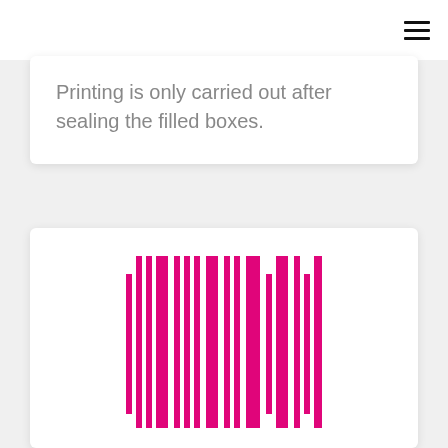Printing is only carried out after sealing the filled boxes.
[Figure (illustration): A pink/magenta barcode illustration with vertical bars of varying widths]
This type of box is intended for small volume of products such as cooked sugar confectionery.